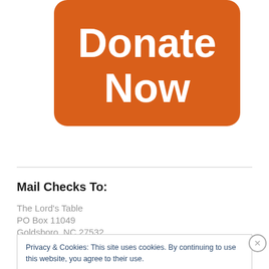[Figure (other): Orange rounded rectangle 'Donate Now' button with white bold text]
Mail Checks To:
The Lord's Table
PO Box 11049
Goldsboro, NC 27532
Privacy & Cookies: This site uses cookies. By continuing to use this website, you agree to their use.
To find out more, including how to control cookies, see here: Cookie Policy
Close and accept